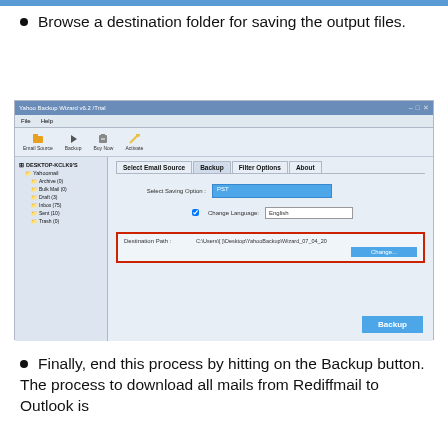Browse a destination folder for saving the output files.
[Figure (screenshot): Screenshot of Yahoo Backup Wizard software showing the Backup tab with a destination path field highlighted in a red border: C:\Users\[username]\Desktop\YahooBackup\Wizard_07_04_20, with a Change button below and a Backup button at bottom right.]
Finally, end this process by hitting on the Backup button. The process to download all mails from Rediffmail to Outlook is